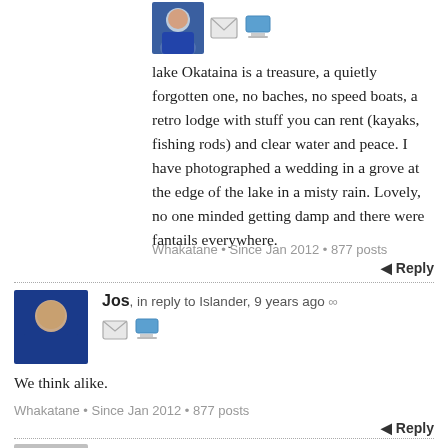[Figure (photo): User avatar (person in blue jacket), email icon, and computer icon at top of comment thread]
lake Okataina is a treasure, a quietly forgotten one, no baches, no speed boats, a retro lodge with stuff you can rent (kayaks, fishing rods) and clear water and peace. I have photographed a wedding in a grove at the edge of the lake in a misty rain. Lovely, no one minded getting damp and there were fantails everywhere.
Whakatane • Since Jan 2012 • 877 posts
Reply
[Figure (photo): Avatar of user Jos (person in blue jacket), with email and computer icons below]
Jos, in reply to Islander, 9 years ago ∞
We think alike.
Whakatane • Since Jan 2012 • 877 posts
Reply
[Figure (photo): Gray placeholder avatar for user Hebe]
Hebe, in reply to Jos, 9 years ago ∞